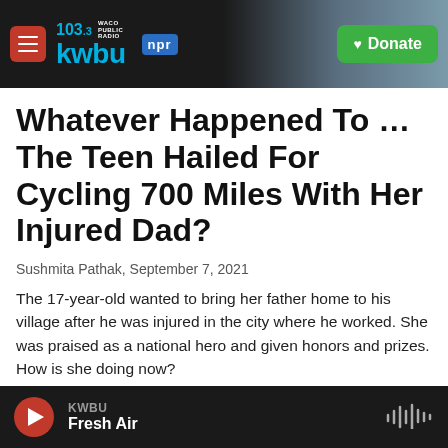103.3 KWBU WACO PUBLIC RADIO | NPR | Donate
Whatever Happened To … The Teen Hailed For Cycling 700 Miles With Her Injured Dad?
Sushmita Pathak,  September 7, 2021
The 17-year-old wanted to bring her father home to his village after he was injured in the city where he worked. She was praised as a national hero and given honors and prizes. How is she doing now?
Load More
KWBU Fresh Air